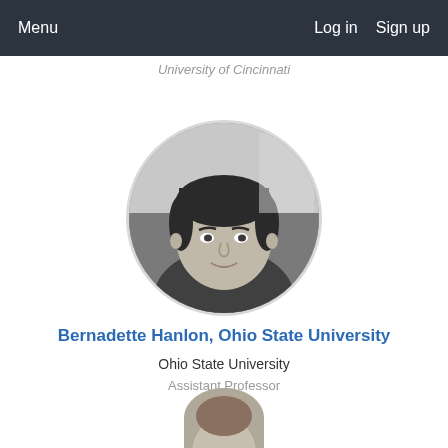Menu    Log in  Sign up
University of Cincinnati
[Figure (photo): Black and white circular portrait photo of Bernadette Hanlon, a woman with short dark hair, smiling, seated]
Bernadette Hanlon, Ohio State University
Ohio State University
Assistant Professor
[Figure (photo): Partial circular portrait photo of another person, cropped at bottom of page]